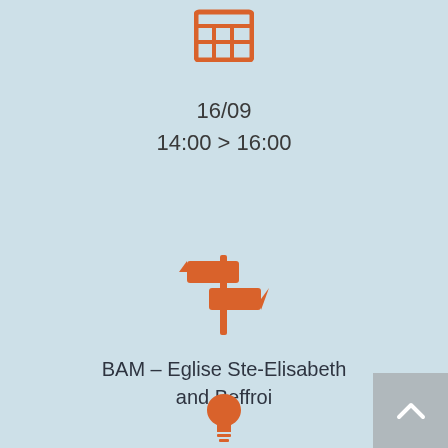[Figure (illustration): Orange calendar/grid icon at the top center]
16/09
14:00 > 16:00
[Figure (illustration): Orange signpost/direction icon in the middle center]
BAM – Eglise Ste-Elisabeth and Beffroi
[Figure (illustration): Orange lightbulb icon near the bottom center]